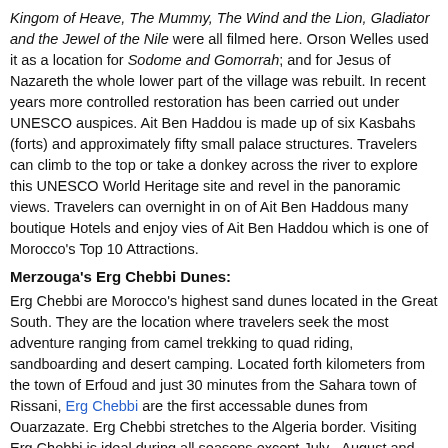Kingom of Heave, The Mummy, The Wind and the Lion, Gladiator and the Jewel of the Nile were all filmed here. Orson Welles used it as a location for Sodome and Gomorrah; and for Jesus of Nazareth the whole lower part of the village was rebuilt. In recent years more controlled restoration has been carried out under UNESCO auspices. Ait Ben Haddou is made up of six Kasbahs (forts) and approximately fifty small palace structures. Travelers can climb to the top or take a donkey across the river to explore this UNESCO World Heritage site and revel in the panoramic views. Travelers can overnight in on of Ait Ben Haddous many boutique Hotels and enjoy vies of Ait Ben Haddou which is one of Morocco's Top 10 Attractions.
Merzouga's Erg Chebbi Dunes:
Erg Chebbi are Morocco's highest sand dunes located in the Great South. They are the location where travelers seek the most adventure ranging from camel trekking to quad riding, sandboarding and desert camping. Located forth kilometers from the town of Erfoud and just 30 minutes from the Sahara town of Rissani, Erg Chebbi are the first accessable dunes from Ouarzazate. Erg Chebbi stretches to the Algeria border. Visiting Erg Chebbi is ideal during all seasons except July - August and January - February when the temperate weather is